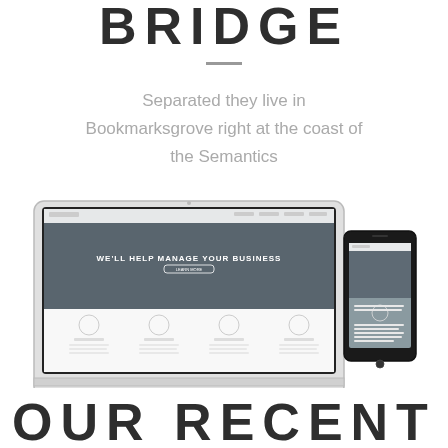BRIDGE
Separated they live in Bookmarksgrove right at the coast of the Semantics
[Figure (screenshot): Mockup showing a laptop displaying a business website with the headline 'WE'LL HELP MANAGE YOUR BUSINESS' and a smartphone showing a matching mobile version of the site.]
OUR RECENT